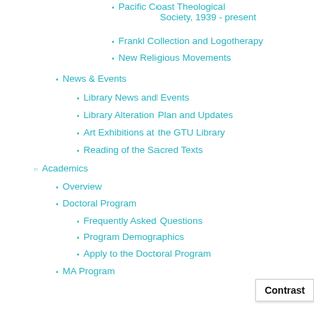Pacific Coast Theological Society, 1939 - present
Frankl Collection and Logotherapy
New Religious Movements
News & Events
Library News and Events
Library Alteration Plan and Updates
Art Exhibitions at the GTU Library
Reading of the Sacred Texts
Academics
Overview
Doctoral Program
Frequently Asked Questions
Program Demographics
Apply to the Doctoral Program
MA Program
Frequently Asked Questions
MA Program Demographics
Apply to the MA Program
Certificates & Other Programs
Interreligious Chaplaincy Program
About the ICP